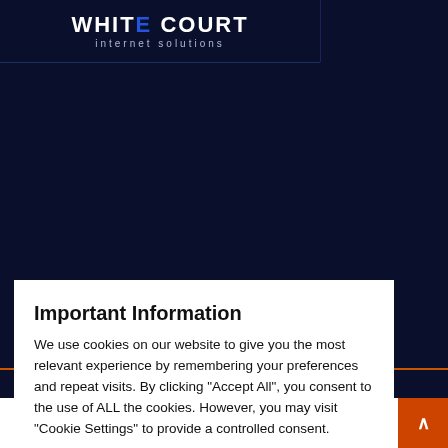[Figure (screenshot): White Court Internet Solutions website header with logo. Dark navy blue background with white logo text reading 'WHITE COURT' and subtitle 'internet solutions'. Orange/copper horizontal divider line visible.]
Important Information
We use cookies on our website to give you the most relevant experience by remembering your preferences and repeat visits. By clicking "Accept All", you consent to the use of ALL the cookies. However, you may visit "Cookie Settings" to provide a controlled consent.
Cookie Settings   Accept All
Privacy Policy - Terms and Conditions